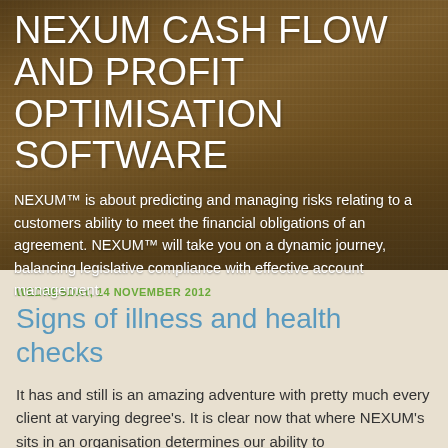NEXUM CASH FLOW AND PROFIT OPTIMISATION SOFTWARE
NEXUM™ is about predicting and managing risks relating to a customers ability to meet the financial obligations of an agreement. NEXUM™ will take you on a dynamic journey, balancing legislative compliance with effective account management.
WEDNESDAY, 14 NOVEMBER 2012
Signs of illness and health checks
It has and still is an amazing adventure with pretty much every client at varying degree's. It is clear now that where NEXUM's sits in an organisation determines our ability to